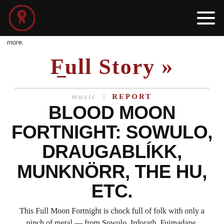[Figure (logo): Website header with red horse logo on black background and hamburger menu icon]
more.
[Figure (logo): Full Story >> decorative red serif logotype link]
music | REPORT
BLOOD MOON FORTNIGHT: SOWULO, DRAUGABLÍKK, MUNKNÖRR, THE HU, ETC.
This Full Moon Fortnight is chock full of folk with only a pinch of metal — from Sowulo, Irdorath, Fuimadane, Draugablíkk, and The HU, there is plenty to listen to.